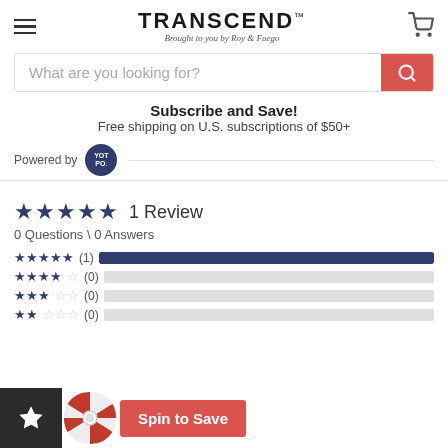[Figure (logo): Transcend brand logo with hamburger menu and shopping cart]
What are you looking for?
Subscribe and Save!
Free shipping on U.S. subscriptions of $50+
Powered by YOTPO
★★★★★ 1 Review
0 Questions \ 0 Answers
[Figure (infographic): Star rating breakdown bars: 5 stars (1) full bar, 4 stars (0) empty, 3 stars (0) empty, 2 stars (0) empty, 1 star (0) empty]
[Figure (infographic): Spin to Save popup widget with spinning wheel and red button]